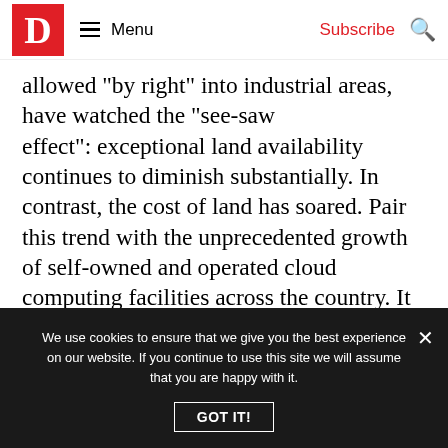D | Menu | Subscribe
allowed "by right" into industrial areas, have watched the “see-saw effect”: exceptional land availability continues to diminish substantially. In contrast, the cost of land has soared. Pair this trend with the unprecedented growth of self-owned and operated cloud computing facilities across the country. It could be argued that there is no hotter commodity than a prime piece of data center land. In Northern Virginia, data center land prices have skyrocketed to $2M-$4M per acre.
We use cookies to ensure that we give you the best experience on our website. If you continue to use this site we will assume that you are happy with it.